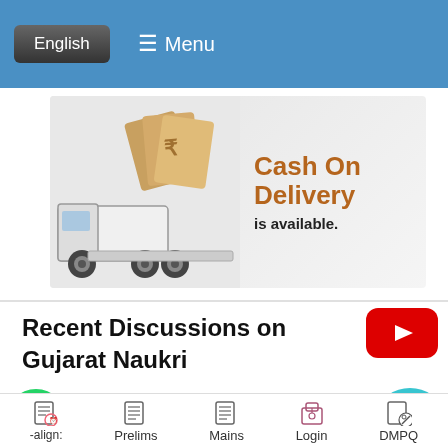English  ≡ Menu
[Figure (illustration): Cash On Delivery advertisement banner with truck, currency notes and coins. Text reads 'Cash On Delivery is available.']
[Figure (logo): Red YouTube play button icon]
Recent Discussions on Gujarat Naukri
[Figure (logo): Green WhatsApp icon circle]
Suggestions and Complains
Syllabus and Pattern of GPSC Mains Exam
[Figure (logo): Teal chat bubble icon]
-align:   Prelims   Mains   Login   DMPQ